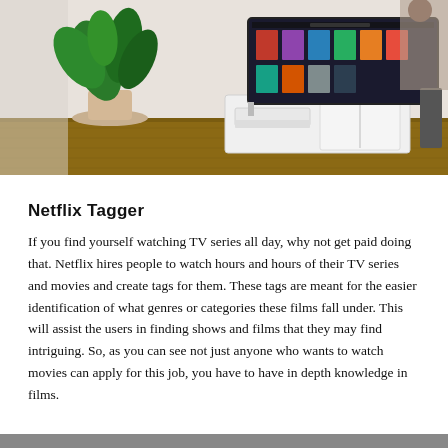[Figure (photo): A living room scene with a large smart TV mounted above a white media console, showing Netflix content on screen. A green leafy plant sits to the left, and there is hardwood flooring visible.]
Netflix Tagger
If you find yourself watching TV series all day, why not get paid doing that. Netflix hires people to watch hours and hours of their TV series and movies and create tags for them. These tags are meant for the easier identification of what genres or categories these films fall under. This will assist the users in finding shows and films that they may find intriguing. So, as you can see not just anyone who wants to watch movies can apply for this job, you have to have in depth knowledge in films.